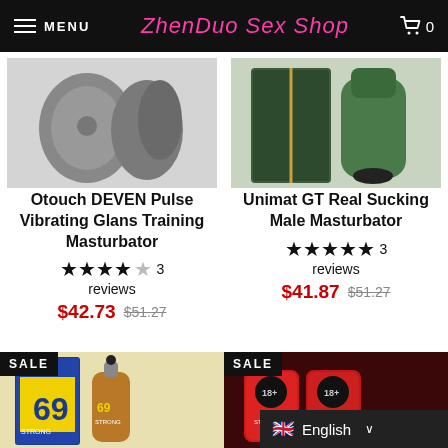ZhenDuo Sex Shop — MENU | Cart 0
[Figure (photo): Otouch DEVEN Pulse Vibrating Glans Training Masturbator product image (gray device)]
Otouch DEVEN Pulse Vibrating Glans Training Masturbator
★★★★½ 3 reviews
$42.73  $51.27
[Figure (photo): Unimat GT Real Sucking Male Masturbator product image (green device with box)]
Unimat GT Real Sucking Male Masturbator
★★★★★ 3 reviews
$41.87  $51.27
[Figure (photo): SALE — 69 Strong product image (blue box and dropper bottle)]
[Figure (photo): SALE — Red product set image (two red tubes with bull logo)]
English